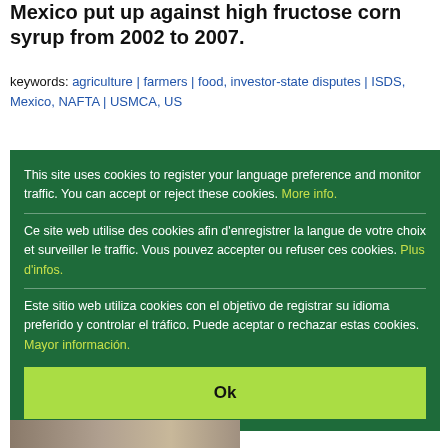Mexico put up against high fructose corn syrup from 2002 to 2007.
keywords: agriculture | farmers | food, investor-state disputes | ISDS, Mexico, NAFTA | USMCA, US
[Figure (photo): Partial view of a photograph showing a purple/blue sky with what appears to be industrial or agricultural structures.]
This site uses cookies to register your language preference and monitor traffic. You can accept or reject these cookies. More info.
Ce site web utilise des cookies afin d'enregistrer la langue de votre choix et surveiller le traffic. Vous pouvez accepter ou refuser ces cookies. Plus d'infos.
Este sitio web utiliza cookies con el objetivo de registrar su idioma preferido y controlar el tráfico. Puede aceptar o rechazar estas cookies. Mayor información.
Ok